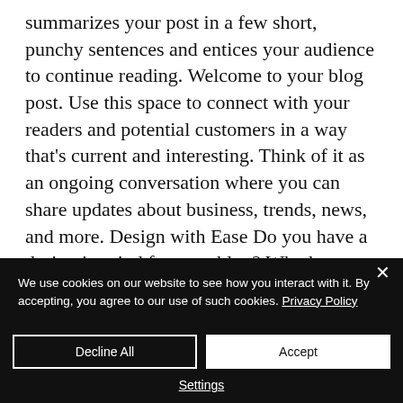summarizes your post in a few short, punchy sentences and entices your audience to continue reading. Welcome to your blog post. Use this space to connect with your readers and potential customers in a way that's current and interesting. Think of it as an ongoing conversation where you can share updates about business, trends, news, and more. Design with Ease Do you have a design in mind for your blog? Whether
We use cookies on our website to see how you interact with it. By accepting, you agree to our use of such cookies. Privacy Policy
Decline All
Accept
Settings